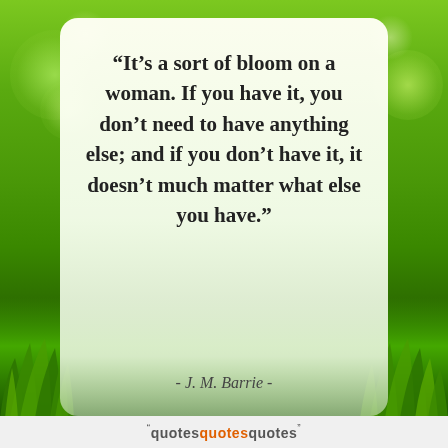[Figure (illustration): Green nature background with bokeh light effects and grass at bottom, with a white rounded card overlay containing a quote by J. M. Barrie, and a quotesquotesquotes footer bar.]
“It’s a sort of bloom on a woman. If you have it, you don’t need to have anything else; and if you don’t have it, it doesn’t much matter what else you have.”
- J. M. Barrie -
quotesquotesquotes